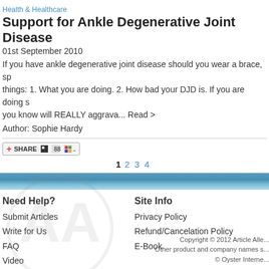Health & Healthcare
Support for Ankle Degenerative Joint Disease
01st September 2010
If you have ankle degenerative joint disease should you wear a brace, sp things: 1. What you are doing. 2. How bad your DJD is. If you are doing s you know will REALLY aggrava... Read >
Author: Sophie Hardy
[Figure (other): Share button with social icons]
1 2 3 4
Need Help?  Submit Articles  Write for Us  FAQ  Video  |  Site Info  Privacy Policy  Refund/Cancelation Policy  E-Book  |  Copyright © 2012 Article Alle... Other product and company names s... © Oyster Interne...